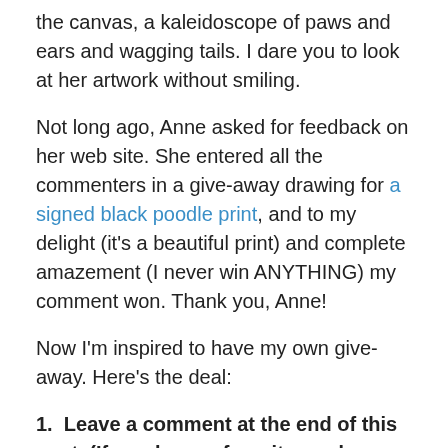the canvas, a kaleidoscope of paws and ears and wagging tails. I dare you to look at her artwork without smiling.
Not long ago, Anne asked for feedback on her web site. She entered all the commenters in a give-away drawing for a signed black poodle print, and to my delight (it's a beautiful print) and complete amazement (I never win ANYTHING) my comment won. Thank you, Anne!
Now I'm inspired to have my own give-away. Here's the deal:
1.  Leave a comment at the end of this post. (If you have a favorite garden-related book to recommend, I'd love to know about it.)
2.  One week from today, on Nov. 21, I'll use random.org to select the winner.